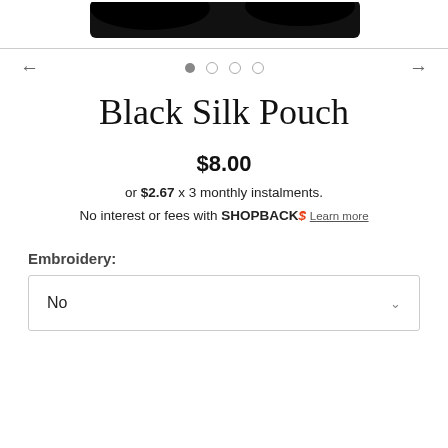[Figure (photo): Partial view of a black silk pouch product image, cropped at top]
[Figure (other): Carousel navigation with left/right arrows and 4 dots (first dot filled)]
Black Silk Pouch
$8.00
or $2.67 x 3 monthly instalments.
No interest or fees with SHOPBACK$ Learn more
Embroidery:
No